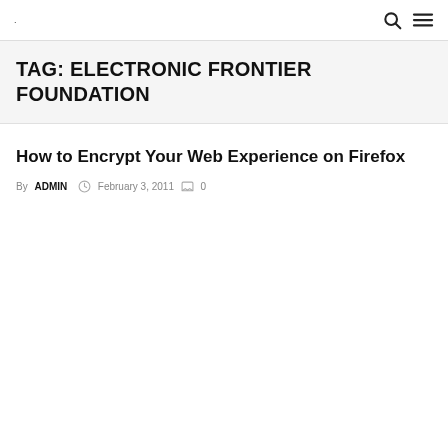. 🔍 ☰
TAG: ELECTRONIC FRONTIER FOUNDATION
How to Encrypt Your Web Experience on Firefox
By ADMIN  February 3, 2011  0